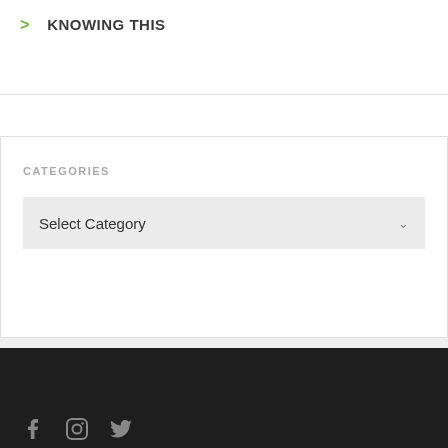> KNOWING THIS
CATEGORIES
Select Category
Social media icons: Facebook, Instagram, Twitter